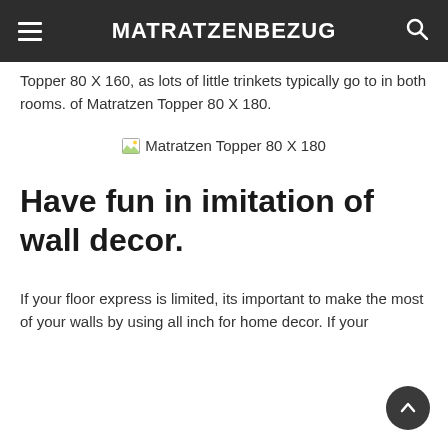MATRATZENBEZUG
Topper 80 X 160, as lots of little trinkets typically go to in both rooms. of Matratzen Topper 80 X 180.
[Figure (photo): Broken image placeholder with alt text 'Matratzen Topper 80 X 180']
Have fun in imitation of wall decor.
If your floor express is limited, its important to make the most of your walls by using all inch for home decor. If your